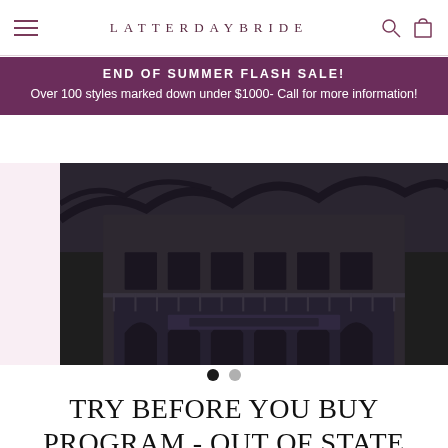LATTERDAYBRIDE
END OF SUMMER FLASH SALE! Over 100 styles marked down under $1000- Call for more information!
[Figure (photo): Dark photograph of a multi-story building exterior, partially visible with decorative architecture and balcony railings visible against a dark background. Pink/blush panel on the left side.]
TRY BEFORE YOU BUY PROGRAM - OUT OF STATE BRIDES